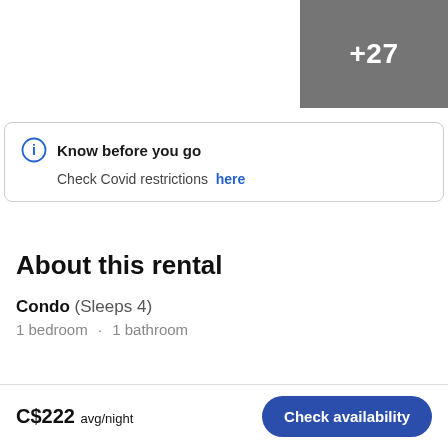[Figure (other): Gray rectangle in the top-right corner with white text '+27']
Know before you go
Check Covid restrictions here
About this rental
Condo (Sleeps 4)
1 bedroom · 1 bathroom
C$222 avg/night
Check availability